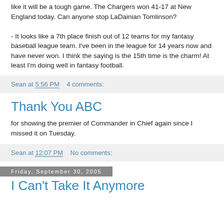like it will be a tough game. The Chargers won 41-17 at New England today. Can anyone stop LaDainian Tomlinson?

- It looks like a 7th place finish out of 12 teams for my fantasy baseball league team. I've been in the league for 14 years now and have never won. I think the saying is the 15th time is the charm! At least I'm doing well in fantasy football.
Sean at 5:56 PM   4 comments:
Thank You ABC
for showing the premier of Commander in Chief again since I missed it on Tuesday.
Sean at 12:07 PM   No comments:
Friday, September 30, 2005
I Can't Take It Anymore